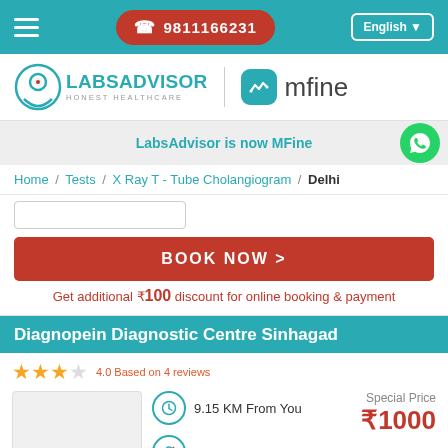☎ 9811166231  English
[Figure (logo): LabsAdvisor Honest Healthcare logo and MFine logo]
LabsAdvisor is now MFine
Home / Tests / X Ray T - Tube Cholangiogram / Delhi
BOOK NOW >
Get additional ₹100 discount for online booking & payment
Diagnopein Diagnostic Centre Sinhagad
4.0 Based on 4 reviews
9.15 KM From You
Lady Radiologist
Special Price ₹1000
BOOK NOW >